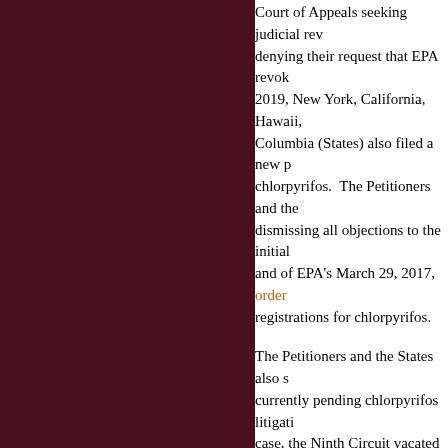Court of Appeals seeking judicial review of EPA's order denying their request that EPA revoke ... In 2019, New York, California, Hawaii, ... Columbia (States) also filed a new petition for chlorpyrifos. The Petitioners and the ... dismissing all objections to the initial ... and of EPA's March 29, 2017, order ... registrations for chlorpyrifos.
The Petitioners and the States also ... currently pending chlorpyrifos litigation ... case, the Ninth Circuit vacated a prior ... instead issued a writ of mandamus ... days. EPA then issued the July 18, ... to dismiss the LULAC case as moot. ... order was never itself reviewable, and ... Petitioners oppose the motion to dismiss ... jurisdictional issue which they contend ... argue that dismissal would be unnecessary ... the record for review compiled in LULAC.
Petitioners also note that the Ninth Circuit's request that their combined challenge ... for chlorpyrifos be heard by the Court ...